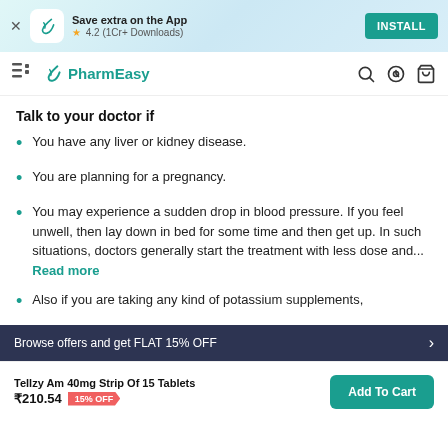Save extra on the App | 4.2 (1Cr+ Downloads) | INSTALL
PharmEasy
Talk to your doctor if
You have any liver or kidney disease.
You are planning for a pregnancy.
You may experience a sudden drop in blood pressure. If you feel unwell, then lay down in bed for some time and then get up. In such situations, doctors generally start the treatment with less dose and...  Read more
Also if you are taking any kind of potassium supplements,
Browse offers and get FLAT 15% OFF
Tellzy Am 40mg Strip Of 15 Tablets
₹210.54  15% OFF
Add To Cart